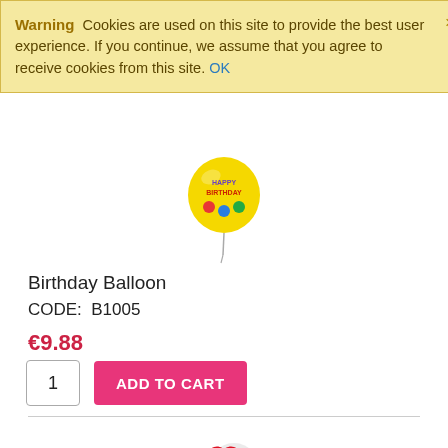Warning  Cookies are used on this site to provide the best user experience. If you continue, we assume that you agree to receive cookies from this site. OK
[Figure (illustration): Yellow happy birthday balloon with colorful text and ribbons]
Birthday Balloon
CODE:  B1005
€9.88
1  ADD TO CART
[Figure (illustration): Red heart-shaped I Love You balloon with white reflection and ribbons]
'I Love You' Balloon